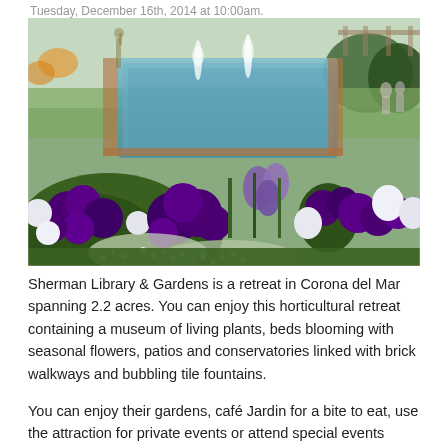Tuesday, December 16th, 2014 at 10:00am.
[Figure (photo): Garden photo showing purple and white flowers in the foreground with a rectangular reflection pool or fountain in the background, surrounded by lush garden beds and greenery.]
Sherman Library & Gardens is a retreat in Corona del Mar spanning 2.2 acres. You can enjoy this horticultural retreat containing a museum of living plants, beds blooming with seasonal flowers, patios and conservatories linked with brick walkways and bubbling tile fountains.
You can enjoy their gardens, café Jardin for a bite to eat, use the attraction for private events or attend special events hosted by